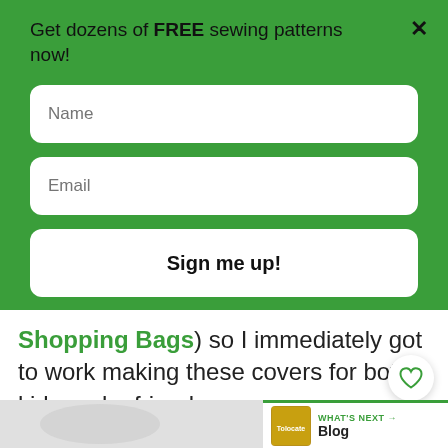Get dozens of FREE sewing patterns now!
Name
Email
Sign me up!
Shopping Bags) so I immediately got to work making these covers for both kids and a friend.
[Figure (photo): Photo of shopping bag or fabric cover items on a light background, partially visible at bottom of page]
WHAT'S NEXT → Blog